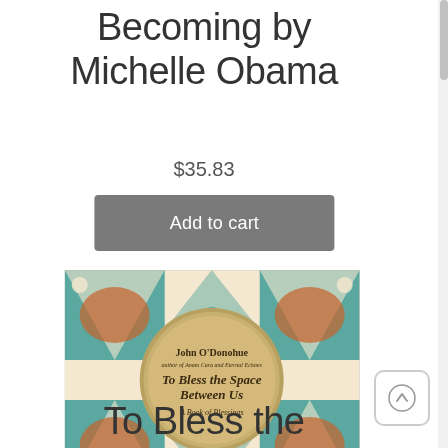Becoming by Michelle Obama
$35.83
Add to cart
[Figure (photo): Book cover of 'To Bless the Space Between Us: A Book of Blessings' by John O'Donohue, featuring an ornate colorful pattern with teal, orange/rust, and cream colors, with a circular golden medallion in the center containing the title and author name.]
To Bless the